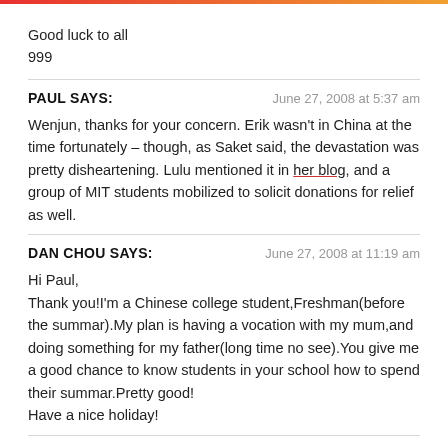Good luck to all
999
PAUL SAYS:
June 27, 2008 at 5:37 am
Wenjun, thanks for your concern. Erik wasn't in China at the time fortunately – though, as Saket said, the devastation was pretty disheartening. Lulu mentioned it in her blog, and a group of MIT students mobilized to solicit donations for relief as well.
DAN CHOU SAYS:
June 27, 2008 at 11:19 am
Hi Paul,
Thank you!I'm a Chinese college student,Freshman(before the summar).My plan is having a vocation with my mum,and doing something for my father(long time no see).You give me a good chance to know students in your school how to spend their summar.Pretty good!
Have a nice holiday!